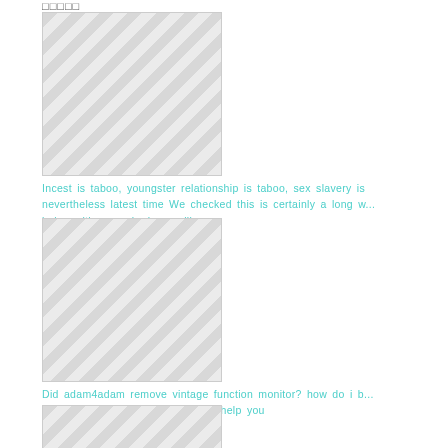□□□□□
[Figure (illustration): Image placeholder with diagonal grey stripes pattern, first image block]
Incest is taboo, youngster relationship is taboo, sex slavery is nevertheless latest time We checked this is certainly a long w... being with some body you like
[Figure (illustration): Image placeholder with diagonal grey stripes pattern, second image block]
Did adam4adam remove vintage function monitor? how do i b... you're able to vintage display? to help you
[Figure (illustration): Image placeholder with diagonal grey stripes pattern, third partial image block]